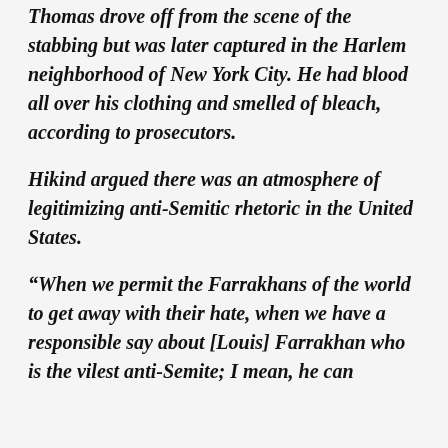Thomas drove off from the scene of the stabbing but was later captured in the Harlem neighborhood of New York City. He had blood all over his clothing and smelled of bleach, according to prosecutors.
Hikind argued there was an atmosphere of legitimizing anti-Semitic rhetoric in the United States.
“When we permit the Farrakhans of the world to get away with their hate, when we have a responsible say about [Louis] Farrakhan who is the vilest anti-Semite; I mean, he can